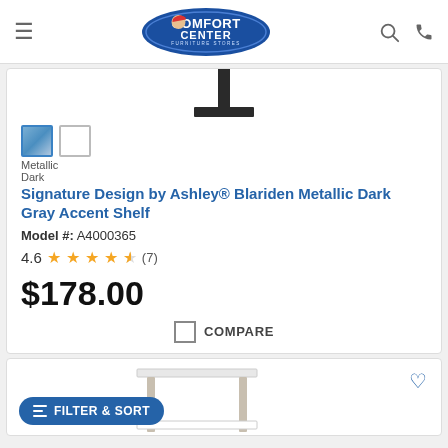[Figure (logo): Comfort Center Furniture Stores logo - blue oval with white text and cartoon character]
[Figure (photo): Partial view of Blariden Metallic Dark Gray Accent Shelf product image]
Metallic Dark
Signature Design by Ashley® Blariden Metallic Dark Gray Accent Shelf
Model #: A4000365
4.6 ★★★★½ (7)
$178.00
COMPARE
[Figure (photo): Partial view of second product card with white furniture item]